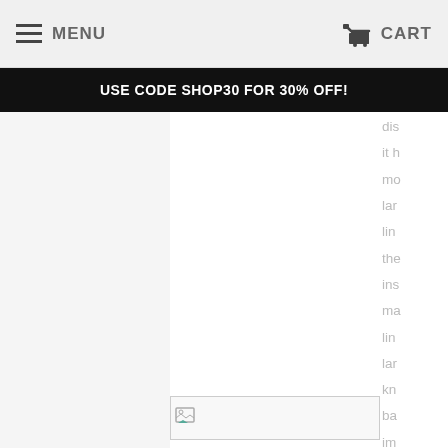MENU   CART
USE CODE SHOP30 FOR 30% OFF!
[Figure (screenshot): Webpage screenshot showing a navigation bar with MENU and CART, a promotional banner reading USE CODE SHOP30 FOR 30% OFF!, a broken image placeholder, and partially visible text on the right side including fragments: dis, it h, mo, lar, lin, the, ins, ma, lin, lar, kn, ba, im, lef, the]
dis it h mo lar lin the ins ma lin lar kn ba im lef the